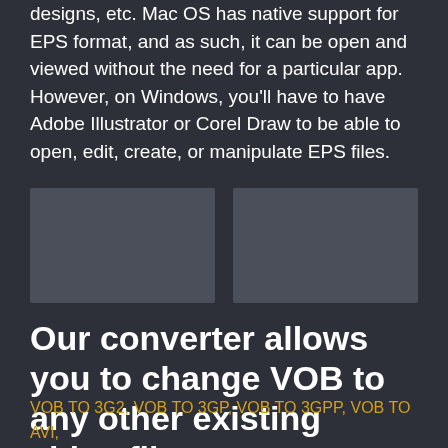designs, etc. Mac OS has native support for EPS format, and as such, it can be open and viewed without the need for a particular app. However, on Windows, you'll have to have Adobe Illustrator or Corel Draw to be able to open, edit, create, or manipulate EPS files.
[Figure (illustration): Two gray placeholder image boxes side by side]
Our converter allows you to change VOB to any other existing video file
VOB TO 3G2, VOB TO 3GP, VOB TO 3GPP, VOB TO AVI, VOB TO CAVS, VOB TO DV, VOB TO DVR, VOB TO FLV, VOB TO M2TS, VOB TO M4V, VOB TO MKV, VOB TO MOD, VOB TO MOV, VOB TO MP4, VOB TO MPEG, VOB TO MPG,